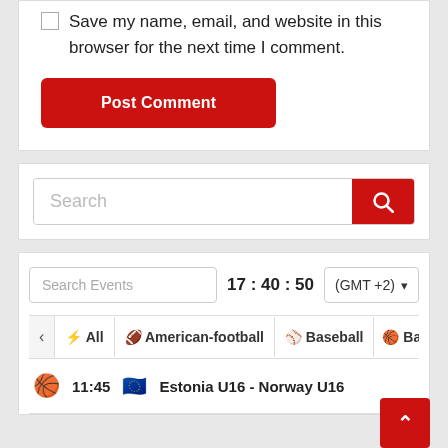Save my name, email, and website in this browser for the next time I comment.
Post Comment
Search
Search Events  17 : 40 : 50  (GMT +2)
⚡ All   🏈 American-football   ⚾ Baseball   🏀 Ba
11:45   Estonia U16 - Norway U16